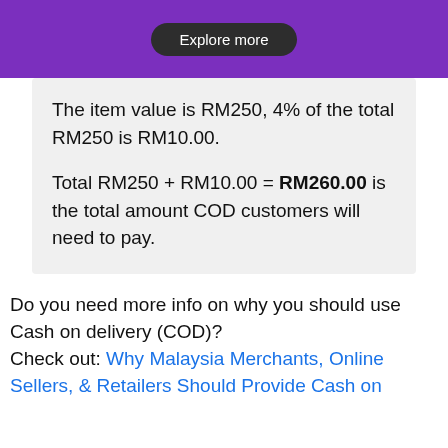Explore more
The item value is RM250, 4% of the total RM250 is RM10.00.
Total RM250 + RM10.00 = RM260.00 is the total amount COD customers will need to pay.
Do you need more info on why you should use Cash on delivery (COD)?
Check out: Why Malaysia Merchants, Online Sellers, & Retailers Should Provide Cash on